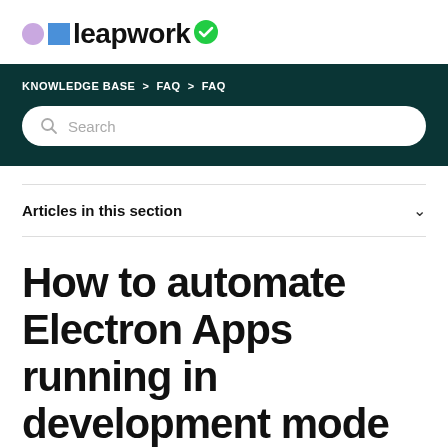leapwork
KNOWLEDGE BASE > FAQ > FAQ
Articles in this section
How to automate Electron Apps running in development mode with